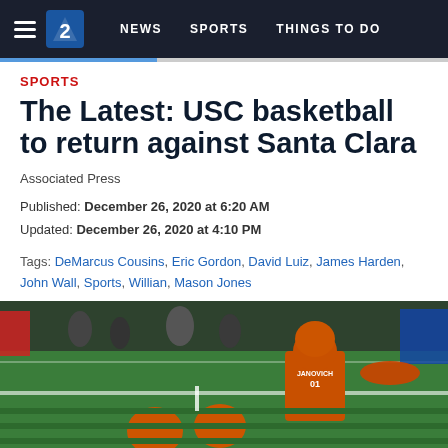≡  [2 logo]  NEWS   SPORTS   THINGS TO DO
SPORTS
The Latest: USC basketball to return against Santa Clara
Associated Press
Published: December 26, 2020 at 6:20 AM
Updated: December 26, 2020 at 4:10 PM
Tags: DeMarcus Cousins, Eric Gordon, David Luiz, James Harden, John Wall, Sports, Willian, Mason Jones
[Figure (photo): NFL football players in Cleveland Browns orange helmets and uniforms on a football field, with player JANOVICH (#31) visible in the background.]